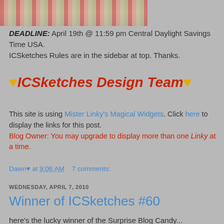[Figure (photo): Partial photo of craft/paper products with red and tan colors at top of page]
DEADLINE: April 19th @ 11:59 pm Central Daylight Savings Time USA.
ICSketches Rules are in the sidebar at top. Thanks.
♥ICSketches Design Team♥
This site is using Mister Linky's Magical Widgets. Click here to display the links for this post.
Blog Owner: You may upgrade to display more than one Linky at a time.
Dawn♥ at 9:06 AM    7 comments:
WEDNESDAY, APRIL 7, 2010
Winner of ICSketches #60
here's the lucky winner of the Surprise Blog Candy...